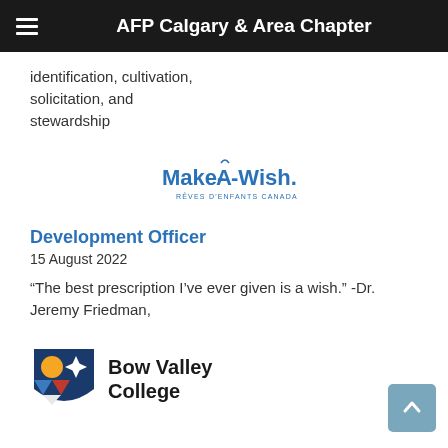AFP Calgary & Area Chapter
identification, cultivation, solicitation, and stewardship
[Figure (logo): Make-A-Wish Canada (Rêves d'enfants Canada) logo in blue]
Development Officer
15 August 2022
“The best prescription I’ve ever given is a wish.” -Dr. Jeremy Friedman,
[Figure (logo): Bow Valley College logo with shield icon and wordmark]